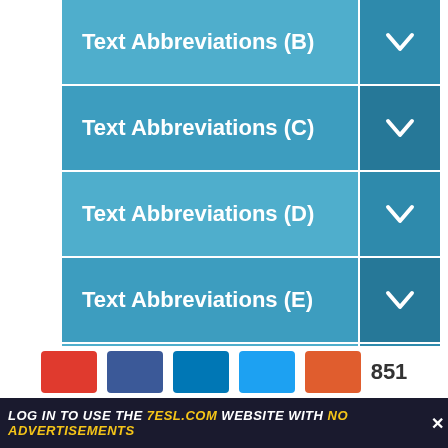Text Abbreviations (B)
Text Abbreviations (C)
Text Abbreviations (D)
Text Abbreviations (E)
Text Abbreviations (F)
Text Abbreviations (G)
Text Abbreviations (H)
Text Abbreviations (I)
Text Abbreviations (J)
Text Abbreviations (K)
851
LOG IN TO USE THE 7ESL.COM WEBSITE WITH NO ADVERTISEMENTS